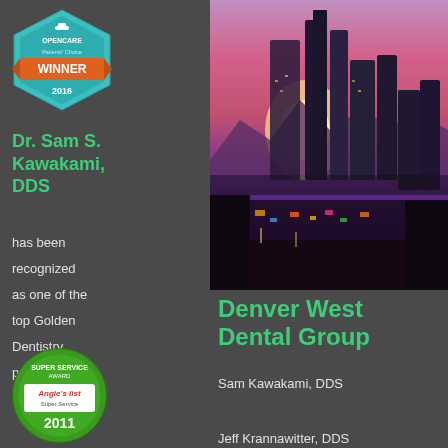[Figure (logo): Opencare Patients' Choice WINNER 2016 badge - teal hexagonal badge with orange ribbon banner]
[Figure (photo): City skyline at sunset/dusk with tall buildings against a pink and purple sky with mountains in background]
Dr. Sam S. Kawakami, DDS
has been recognized as one of the top Golden Dentistry practices.
[Figure (logo): Angie's List Super Service Award 2011 badge - green circular badge]
Denver West Dental Group
Sam Kawakami, DDS
Jeff Krannawitter, DDS
Karla Zinkann, DDS